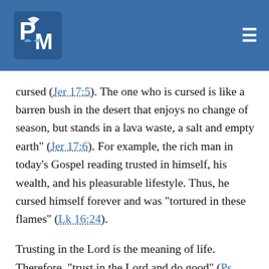PM logo and navigation header
cursed (Jer 17:5). The one who is cursed is like a barren bush in the desert that enjoys no change of season, but stands in a lava waste, a salt and empty earth" (Jer 17:6). For example, the rich man in today's Gospel reading trusted in himself, his wealth, and his pleasurable lifestyle. Thus, he cursed himself forever and was "tortured in these flames" (Lk 16:24).

Trusting in the Lord is the meaning of life. Therefore, "trust in the Lord and do good" (Ps 37:3). "Commit to the Lord your way; trust in Him, and He will act" (Ps 37:5). "Trust in Him at all